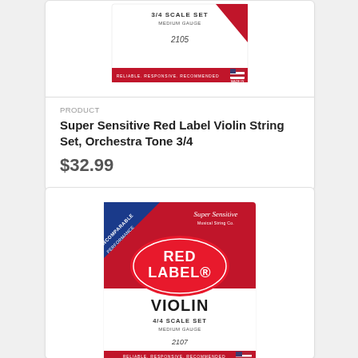[Figure (photo): Super Sensitive Red Label Violin String Set 3/4 scale product package image, partially cropped at top]
PRODUCT
Super Sensitive Red Label Violin String Set, Orchestra Tone 3/4
$32.99
[Figure (photo): Super Sensitive Red Label Violin String Set 4/4 scale product package image, red and white packaging with RED LABEL oval logo, VIOLIN 4/4 SCALE SET MEDIUM GAUGE, item 2107]